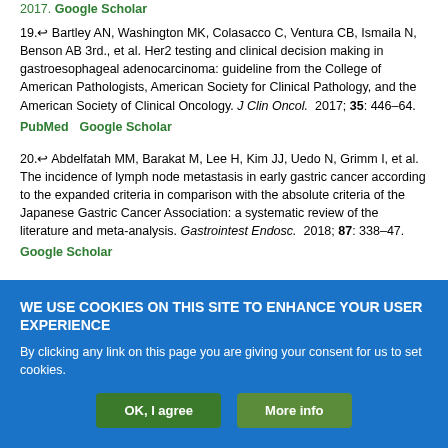2017. Google Scholar
19. Bartley AN, Washington MK, Colasacco C, Ventura CB, Ismaila N, Benson AB 3rd., et al. Her2 testing and clinical decision making in gastroesophageal adenocarcinoma: guideline from the College of American Pathologists, American Society for Clinical Pathology, and the American Society of Clinical Oncology. J Clin Oncol. 2017; 35: 446–64. PubMed Google Scholar
20. Abdelfatah MM, Barakat M, Lee H, Kim JJ, Uedo N, Grimm I, et al. The incidence of lymph node metastasis in early gastric cancer according to the expanded criteria in comparison with the absolute criteria of the Japanese Gastric Cancer Association: a systematic review of the literature and meta-analysis. Gastrointest Endosc. 2018; 87: 338–47. Google Scholar
WE USE COOKIES ON THIS SITE TO ENHANCE YOUR USER EXPERIENCE
By clicking any link on this page you are giving your consent for us to set cookies.
OK, I agree   More info